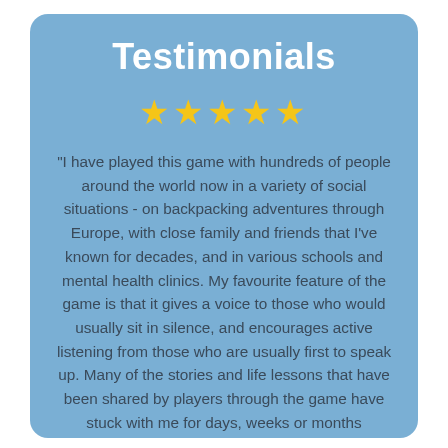Testimonials
[Figure (other): Five gold star rating icons]
"I have played this game with hundreds of people around the world now in a variety of social situations - on backpacking adventures through Europe, with close family and friends that I've known for decades, and in various schools and mental health clinics. My favourite feature of the game is that it gives a voice to those who would usually sit in silence, and encourages active listening from those who are usually first to speak up. Many of the stories and life lessons that have been shared by players through the game have stuck with me for days, weeks or months afterwards. The vulnerability is challenging for some people, but I believe it is the best